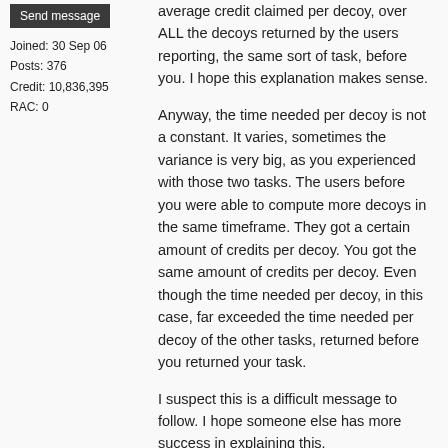Send message
Joined: 30 Sep 06
Posts: 376
Credit: 10,836,395
RAC: 0
average credit claimed per decoy, over ALL the decoys returned by the users reporting, the same sort of task, before you. I hope this explanation makes sense.
Anyway, the time needed per decoy is not a constant. It varies, sometimes the variance is very big, as you experienced with those two tasks. The users before you were able to compute more decoys in the same timeframe. They got a certain amount of credits per decoy. You got the same amount of credits per decoy. Even though the time needed per decoy, in this case, far exceeded the time needed per decoy of the other tasks, returned before you returned your task.
I suspect this is a difficult message to follow. I hope someone else has more success in explaining this.
And maybe this entire story is complete